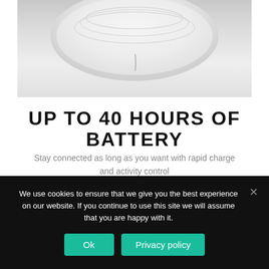[Figure (photo): Close-up photo of a white wireless earbud or headphone charging case on a light gray/white background]
UP TO 40 HOURS OF BATTERY
Stay connected as long as you want with rapid charge and activity control
We use cookies to ensure that we give you the best experience on our website. If you continue to use this site we will assume that you are happy with it.